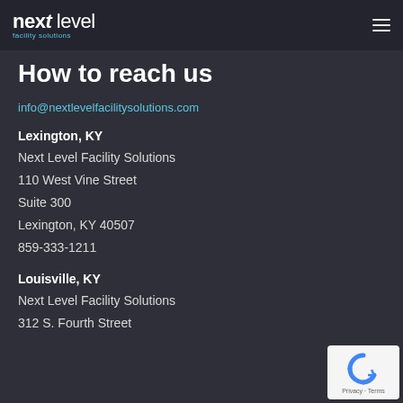next level facility solutions
How to reach us
info@nextlevelfacilitysolutions.com
Lexington, KY
Next Level Facility Solutions
110 West Vine Street
Suite 300
Lexington, KY 40507
859-333-1211
Louisville, KY
Next Level Facility Solutions
312 S. Fourth Street